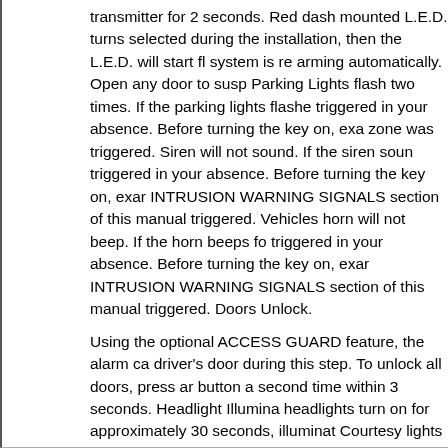transmitter for 2 seconds. Red dash mounted L.E.D. turns selected during the installation, then the L.E.D. will start fl system is re arming automatically. Open any door to susp Parking Lights flash two times. If the parking lights flashe triggered in your absence. Before turning the key on, exa zone was triggered. Siren will not sound. If the siren soun triggered in your absence. Before turning the key on, exar INTRUSION WARNING SIGNALS section of this manual triggered. Vehicles horn will not beep. If the horn beeps fo triggered in your absence. Before turning the key on, exar INTRUSION WARNING SIGNALS section of this manual triggered. Doors Unlock.
Using the optional ACCESS GUARD feature, the alarm ca driver's door during this step. To unlock all doors, press ar button a second time within 3 seconds. Headlight Illumina headlights turn on for approximately 30 seconds, illuminat Courtesy lights turn on for 30 seconds, or until the ignition